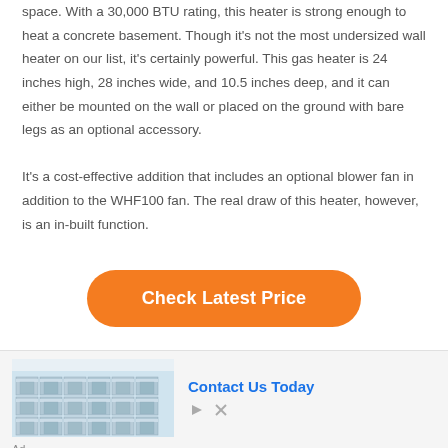space. With a 30,000 BTU rating, this heater is strong enough to heat a concrete basement. Though it's not the most undersized wall heater on our list, it's certainly powerful. This gas heater is 24 inches high, 28 inches wide, and 10.5 inches deep, and it can either be mounted on the wall or placed on the ground with bare legs as an optional accessory.

It's a cost-effective addition that includes an optional blower fan in addition to the WHF100 fan. The real draw of this heater, however, is an in-built function.
Check Latest Price
[Figure (photo): Advertisement banner showing industrial storage tanks/containers in a warehouse setting with a 'Contact Us Today' call to action link.]
Ad